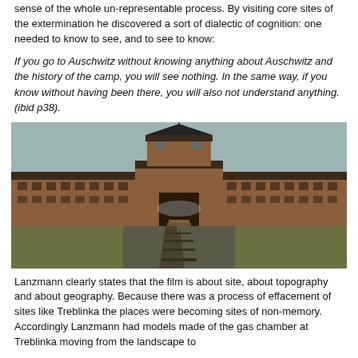sense of the whole un-representable process. By visiting core sites of the extermination he discovered a sort of dialectic of cognition: one needed to know to see, and to see to know:
If you go to Auschwitz without knowing anything about Auschwitz and the history of the camp, you will see nothing. In the same way, if you know without having been there, you will also not understand anything. (ibid p38).
[Figure (photo): Photograph of the entrance gate to Auschwitz-Birkenau concentration camp, viewed from the railway tracks leading into the camp. The brick gatehouse with a central watchtower arch is visible in the center, flanked by long brick barrack buildings on either side. The railway tracks converge toward the gate in the foreground under an overcast grey sky.]
Lanzmann clearly states that the film is about site, about topography and about geography. Because there was a process of effacement of sites like Treblinka the places were becoming sites of non-memory. Accordingly Lanzmann had models made of the gas chamber at Treblinka moving from the landscape to